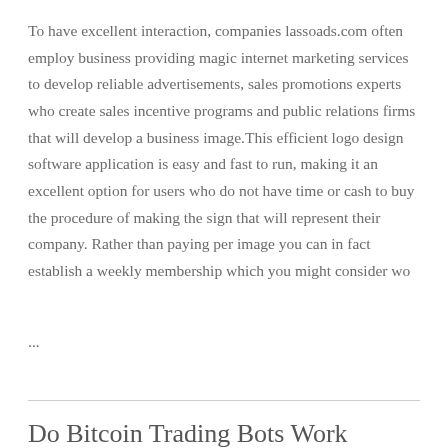To have excellent interaction, companies lassoads.com often employ business providing magic internet marketing services to develop reliable advertisements, sales promotions experts who create sales incentive programs and public relations firms that will develop a business image.This efficient logo design software application is easy and fast to run, making it an excellent option for users who do not have time or cash to buy the procedure of making the sign that will represent their company. Rather than paying per image you can in fact establish a weekly membership which you might consider wo
...
Do Bitcoin Trading Bots Work